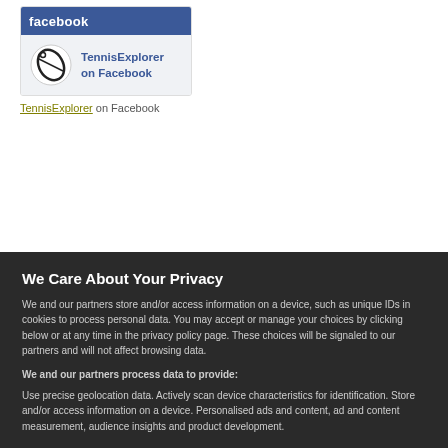[Figure (screenshot): Facebook widget showing TennisExplorer on Facebook with blue Facebook header, tennis ball logo, and page name in blue text]
TennisExplorer on Facebook
We Care About Your Privacy
We and our partners store and/or access information on a device, such as unique IDs in cookies to process personal data. You may accept or manage your choices by clicking below or at any time in the privacy policy page. These choices will be signaled to our partners and will not affect browsing data.
We and our partners process data to provide:
Use precise geolocation data. Actively scan device characteristics for identification. Store and/or access information on a device. Personalised ads and content, ad and content measurement, audience insights and product development.